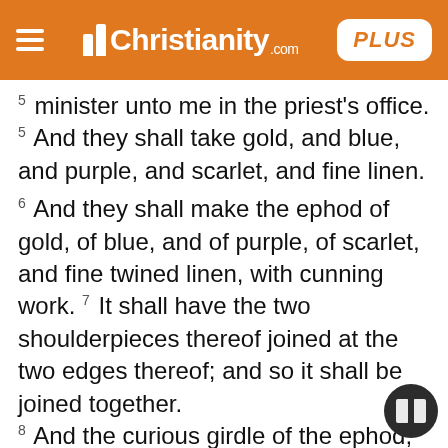Christianity.com PLUS
minister unto me in the priest's office. 5 And they shall take gold, and blue, and purple, and scarlet, and fine linen.
6 And they shall make the ephod of gold, of blue, and of purple, of scarlet, and fine twined linen, with cunning work. 7 It shall have the two shoulderpieces thereof joined at the two edges thereof; and so it shall be joined together. 8 And the curious girdle of the ephod, which is upon it, shall be of the same, according to the work thereof; even of gold, of blue, and purple, and scarlet, and fine twined linen. 9 And thou shalt take two onyx stones, and grave on them